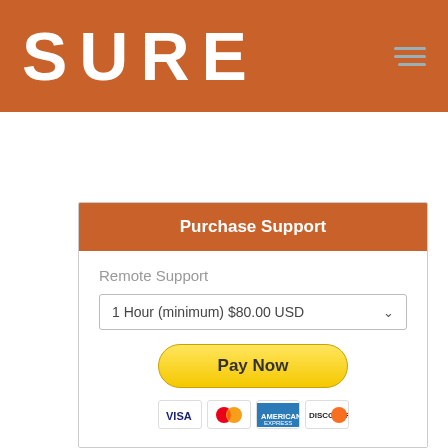[Figure (logo): SURE logo in white text on orange/brown background header bar]
Purchase Support
Remote Support
1 Hour (minimum) $80.00 USD
[Figure (other): Pay Now button (yellow/gold rounded button) with PayPal payment icons below showing VISA, Mastercard, American Express, and Discover card logos]